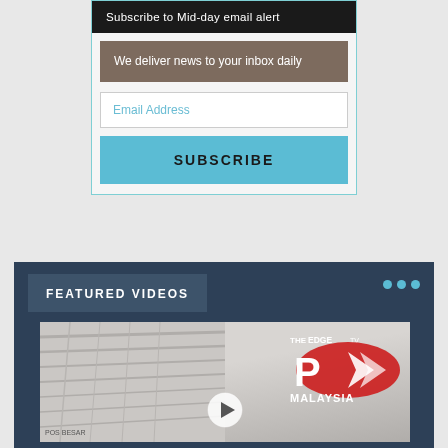Subscribe to Mid-day email alert
We deliver news to your inbox daily
Email Address
SUBSCRIBE
FEATURED VIDEOS
[Figure (screenshot): Video thumbnail showing a building with Pos Malaysia branding and The Edge TV logo, with a play button overlay]